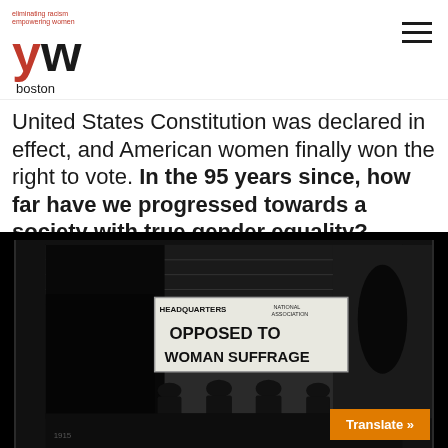YW Boston — eliminating racism, empowering women
United States Constitution was declared in effect, and American women finally won the right to vote. In the 95 years since, how far have we progressed towards a society with true gender equality?
[Figure (photo): Black and white historical photograph showing a building with a sign reading 'HEADQUARTERS NATIONAL ASSOCIATION OPPOSED TO WOMAN SUFFRAGE' with several men standing in front of it.]